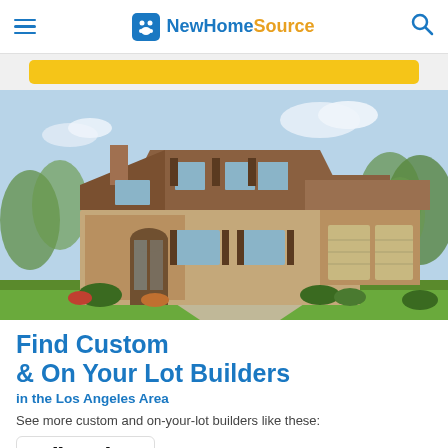NewHomeSource
[Figure (photo): Two-story brick and stone house with steep gabled roof, arched entry, multiple windows, attached two-car garage, green lawn, trees in background, blue sky with clouds]
Find Custom & On Your Lot Builders
in the Los Angeles Area
See more custom and on-your-lot builders like these:
Toll Brothers